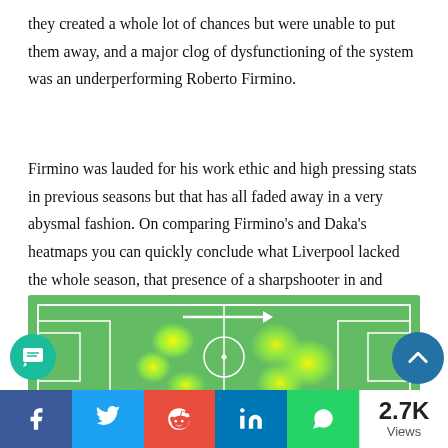they created a whole lot of chances but were unable to put them away, and a major clog of dysfunctioning of the system was an underperforming Roberto Firmino.
Firmino was lauded for his work ethic and high pressing stats in previous seasons but that has all faded away in a very abysmal fashion. On comparing Firmino's and Daka's heatmaps you can quickly conclude what Liverpool lacked the whole season, that presence of a sharpshooter in and around the 6-yard box.
[Figure (other): Football pitch heatmap showing player activity zones. Green pitch with white boundary lines, center line, and goal areas. Yellow and green heat blobs indicating player presence in midfield and attacking zones. White arrow pointing right at top center.]
2.7K Views — Social share bar with Facebook, Twitter, Reddit, LinkedIn, WhatsApp